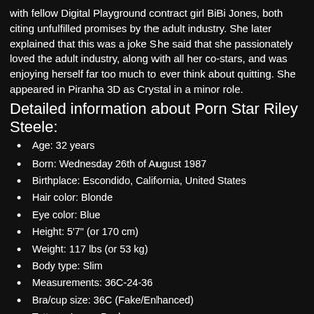with fellow Digital Playground contract girl BiBi Jones, both citing unfulfilled promises by the adult industry. She later explained that this was a joke She said that she passionately loved the adult industry, along with all her co-stars, and was enjoying herself far too much to ever think about quitting. She appeared in Piranha 3D as Crystal in a minor role.
Detailed information about Porn Star Riley Steele:
Age: 32 years
Born: Wednesday 26th of August 1987
Birthplace: Escondido, California, United States
Hair color: Blonde
Eye color: Blue
Height: 5'7" (or 170 cm)
Weight: 117 lbs (or 53 kg)
Body type: Slim
Measurements: 36C-24-36
Bra/cup size: 36C (Fake/Enhanced)
Tattoos: Lower Back
All video with model:
Home For Creampies